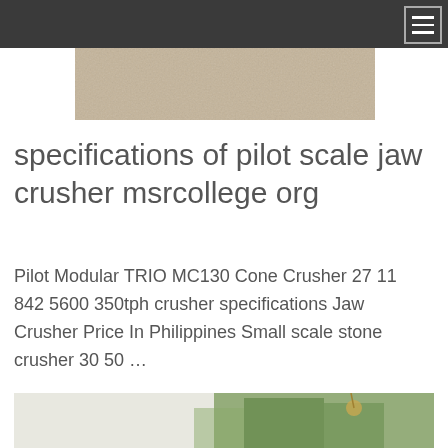[Figure (photo): A beige/tan colored rectangular banner image, likely a header hero image for the webpage.]
specifications of pilot scale jaw crusher msrcollege org
Pilot Modular TRIO MC130 Cone Crusher 27 11 842 5600 350tph crusher specifications Jaw Crusher Price In Philippines Small scale stone crusher 30 50 …
[Figure (photo): A partial outdoor photo showing trees and landscape, bottom portion of the page.]